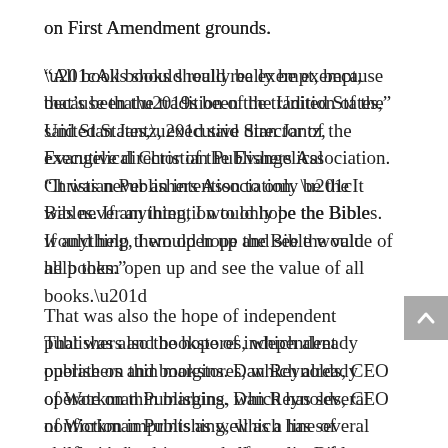on First Amendment grounds.
“All books should really be exempt, because that’s been the tradition of the United States,” said Stan Jantz, executive director of the Evangelical Christian Publishers Association. “It was never an intention to only be the Bibles. If anything, I would hope the Bible would help them open up and see the value of all books.”
That was also the hope of independent publishers and bookstores, which already operate on thin margins. Dan Reynolds, CEO of Workman Publishing, which has several nonfiction imprints as well as a line of children’s books, says the focus on Bibles was part of a conscious approach.
“We strategized when this started to happen about which parts of our business would get the attention